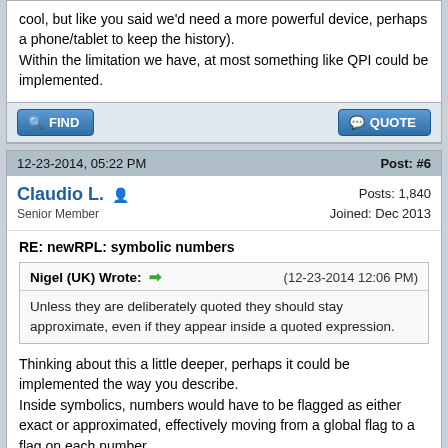cool, but like you said we'd need a more powerful device, perhaps a phone/tablet to keep the history).
Within the limitation we have, at most something like QPI could be implemented.
FIND | QUOTE
12-23-2014, 05:22 PM | Post: #6
Claudio L. | Posts: 1,840 | Joined: Dec 2013 | Senior Member
RE: newRPL: symbolic numbers
Nigel (UK) Wrote: → (12-23-2014 12:06 PM)
Unless they are deliberately quoted they should stay approximate, even if they appear inside a quoted expression.
Thinking about this a little deeper, perhaps it could be implemented the way you describe.
Inside symbolics, numbers would have to be flagged as either exact or approximated, effectively moving from a global flag to a flag on each number.

Following the idea that an approximated number "turns" an exact number into approximated this would be: